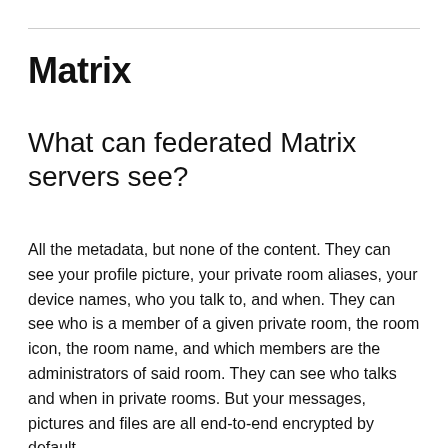Matrix
What can federated Matrix servers see?
All the metadata, but none of the content. They can see your profile picture, your private room aliases, your device names, who you talk to, and when. They can see who is a member of a given private room, the room icon, the room name, and which members are the administrators of said room. They can see who talks and when in private rooms. But your messages, pictures and files are all end-to-end encrypted by default.